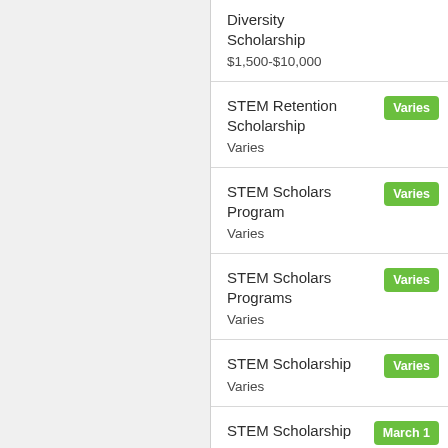Diversity Scholarship
$1,500-$10,000
STEM Retention Scholarship
Varies
STEM Scholars Program
Varies
STEM Scholars Programs
Varies
STEM Scholarship
Varies
STEM Scholarship
Varies